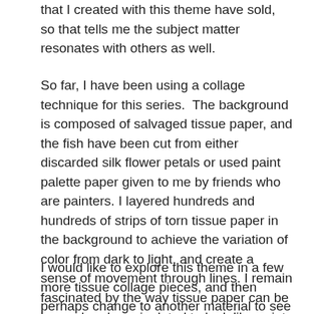that I created with this theme have sold, so that tells me the subject matter resonates with others as well.
So far, I have been using a collage technique for this series.  The background is composed of salvaged tissue paper, and the fish have been cut from either discarded silk flower petals or used paint palette paper given to me by friends who are painters. I layered hundreds and hundreds of strips of torn tissue paper in the background to achieve the variation of color from dark to light, and create a sense of movement through lines. I remain fascinated by the way tissue paper can be layered and manipulated to look like paint. It is fun to see the reaction of viewers when they ask about the paint technique, and I tell them it is paper.
I would like to explore this theme in a few more tissue collage pieces, and then perhaps change to another material to see how the interpretation of the subject